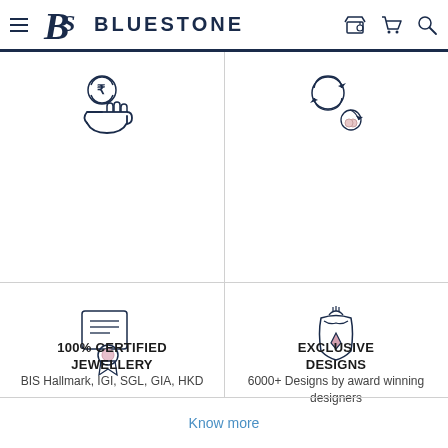BLUESTONE
[Figure (illustration): 100% Refund icon: hand holding rupee coin with circular arrows]
100% REFUND
Return within 30 Days of Delivery
[Figure (illustration): Lifetime Exchange & Buyback icon: circular arrows with jewelry exchange]
LIFETIME EXCHANGE & BUYBACK
Exchange for current value or get Cash
[Figure (illustration): 100% Certified Jewellery icon: certificate with award ribbon]
100% CERTIFIED JEWELLERY
BIS Hallmark, IGI, SGL, GIA, HKD
[Figure (illustration): Exclusive Designs icon: necklace/jewelry on mannequin]
EXCLUSIVE DESIGNS
6000+ Designs by award winning designers
Know more